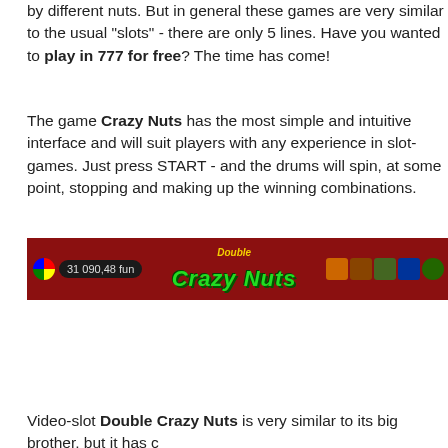by different nuts. But in general these games are very similar to the usual "slots" - there are only 5 lines. Have you wanted to play in 777 for free? The time has come!
The game Crazy Nuts has the most simple and intuitive interface and will suit players with any experience in slot-games. Just press START - and the drums will spin, at some point, stopping and making up the winning combinations.
[Figure (screenshot): Screenshot of the Double Crazy Nuts slot game interface showing a dark red header bar with a color wheel icon, balance display showing '31 090,48 fun', the game title 'Double Crazy Nuts' in green stylized text, and game control icons on the right.]
Video-slot Double Crazy Nuts is very similar to its big brother, but it has c